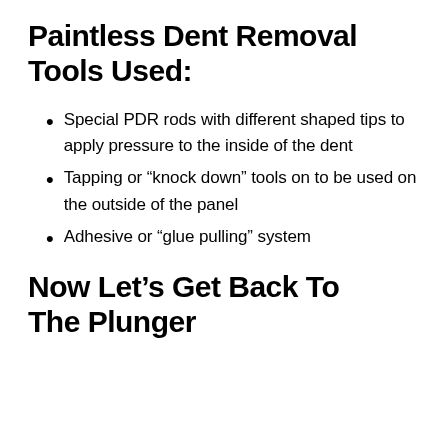Paintless Dent Removal Tools Used:
Special PDR rods with different shaped tips to apply pressure to the inside of the dent
Tapping or “knock down” tools on to be used on the outside of the panel
Adhesive or “glue pulling” system
Now Let’s Get Back To The Plunger